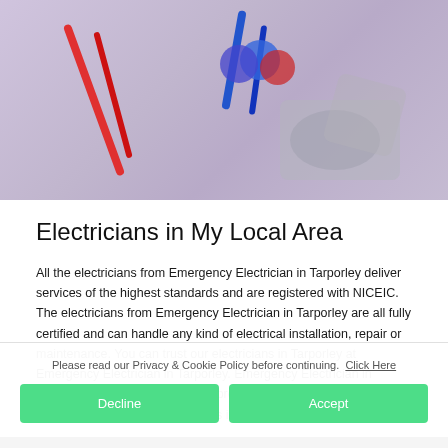[Figure (photo): Electrical wiring components — coloured wires (red, blue) and connectors/caps on a light surface, viewed from above.]
Electricians in My Local Area
All the electricians from Emergency Electrician in Tarporley deliver services of the highest standards and are registered with NICEIC. The electricians from Emergency Electrician in Tarporley are all fully certified and can handle any kind of electrical installation, repair or maintenance. You can trust our electricians in Tarporley at Emergency Electrician in Tarporley. Emergency Electrician in Tarporley are well known for our professionalism, p... prices and reliability – all th... electricians in Tarporley, fi... finish.
Please read our Privacy & Cookie Policy before continuing. Click Here
Decline
Accept